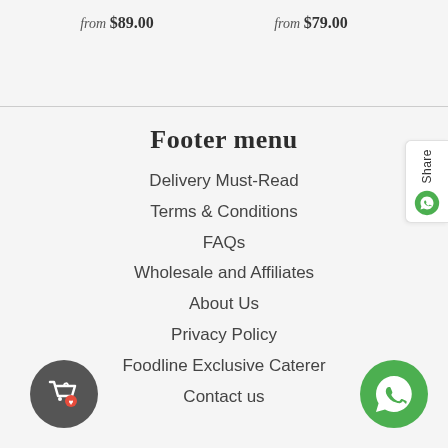from $89.00   from $79.00
Footer menu
Delivery Must-Read
Terms & Conditions
FAQs
Wholesale and Affiliates
About Us
Privacy Policy
Foodline Exclusive Caterer
Contact us
[Figure (illustration): Share button tab on right side with WhatsApp icon]
[Figure (illustration): Dark circular shopping bag with heart icon, bottom left]
[Figure (illustration): Green WhatsApp circular icon, bottom right]